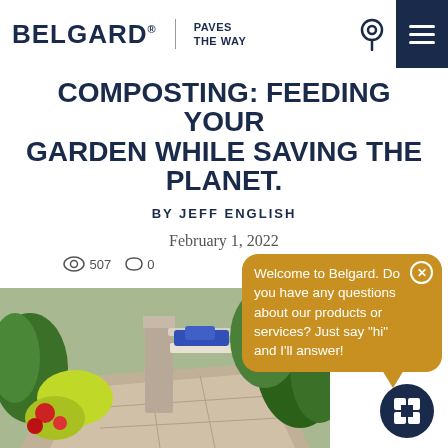BELGARD® | PAVES THE WAY
COMPOSTING: FEEDING YOUR GARDEN WHILE SAVING THE PLANET.
BY JEFF ENGLISH
February 1, 2022
507  0
[Figure (photo): Outdoor patio garden with stone path, stone pillar, bench with blue cushion, red flowers, and lush green foliage]
Welcome to Belgard. Do you have any questions about our products or services? Just say "hi" and I'll answer!